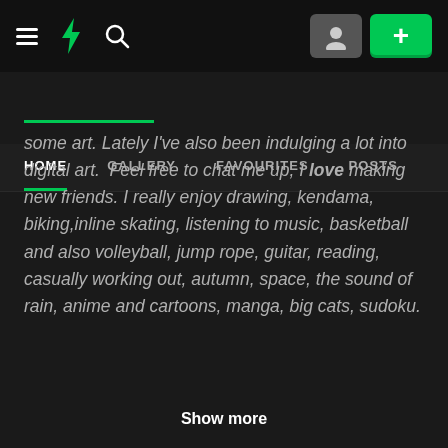[Figure (screenshot): DeviantArt website top navigation bar with hamburger menu, DA logo, search icon, user avatar button, and green submit (+) button]
HOME   GALLERY   FAVOURITES   POSTS
some art. Lately I've also been indulging a lot into digital art.  Feel free to chat me up, I love making new friends. I really enjoy drawing, kendama, biking,inline skating, listening to music, basketball and also volleyball, jump rope, guitar, reading, casually working out, autumn, space, the sound of rain, anime and cartoons, manga, big cats, sudoku.
Show more